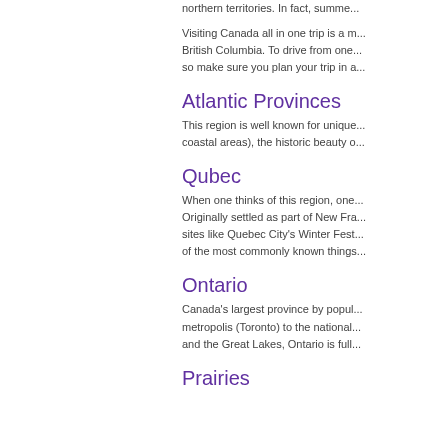northern territories. In fact, summe...
Visiting Canada all in one trip is a m... British Columbia. To drive from one... so make sure you plan your trip in a...
Atlantic Provinces
This region is well known for unique... coastal areas), the historic beauty o...
Qubec
When one thinks of this region, one... Originally settled as part of New Fra... sites like Quebec City's Winter Fest... of the most commonly known things...
Ontario
Canada's largest province by popul... metropolis (Toronto) to the national... and the Great Lakes, Ontario is full...
Prairies